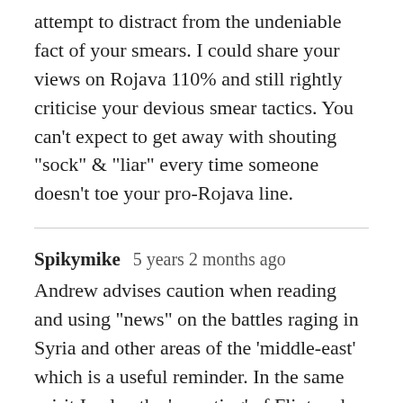attempt to distract from the undeniable fact of your smears. I could share your views on Rojava 110% and still rightly criticise your devious smear tactics. You can't expect to get away with shouting "sock" & "liar" every time someone doesn't toe your pro-Rojava line.
Spikymike   5 years 2 months ago
Andrew advises caution when reading and using "news" on the battles raging in Syria and other areas of the 'middle-east' which is a useful reminder. In the same spirit I value the 'reporting' of Flint and a few others but apply the same caution when it